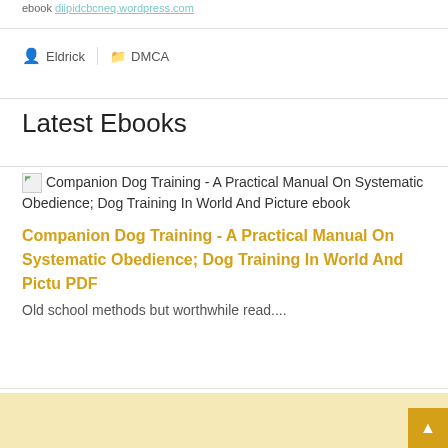ebook diipidcbcneq.wordpress.com
Eldrick   DMCA
Latest Ebooks
[Figure (illustration): Broken image placeholder icon for Companion Dog Training ebook cover]
Companion Dog Training - A Practical Manual On Systematic Obedience; Dog Training In World And Picture ebook
Companion Dog Training - A Practical Manual On Systematic Obedience; Dog Training In World And Pictu PDF
Old school methods but worthwhile read....